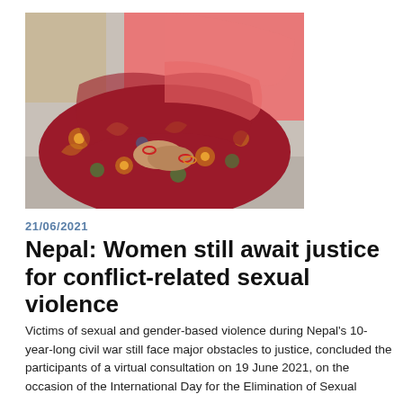[Figure (photo): A woman in a red floral traditional dress sitting cross-legged on the floor with hands folded in her lap, wearing bangles. A pink dupatta is visible. Background shows another person partially.]
21/06/2021
Nepal: Women still await justice for conflict-related sexual violence
Victims of sexual and gender-based violence during Nepal’s 10-year-long civil war still face major obstacles to justice, concluded the participants of a virtual consultation on 19 June 2021, on the occasion of the International Day for the Elimination of Sexual